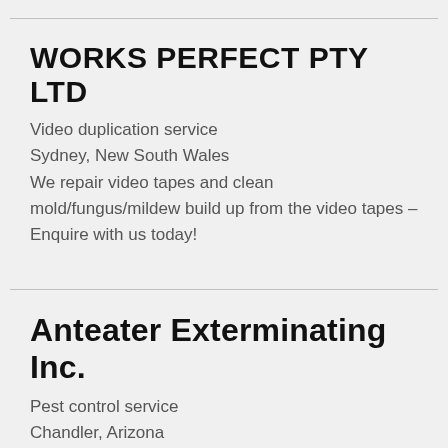WORKS PERFECT PTY LTD
Video duplication service
Sydney, New South Wales
We repair video tapes and clean mold/fungus/mildew build up from the video tapes – Enquire with us today!
Anteater Exterminating Inc.
Pest control service
Chandler, Arizona
Anteater Exterminating Inc. has established a strong history of professional pest control in Phoenix, AZ and it's